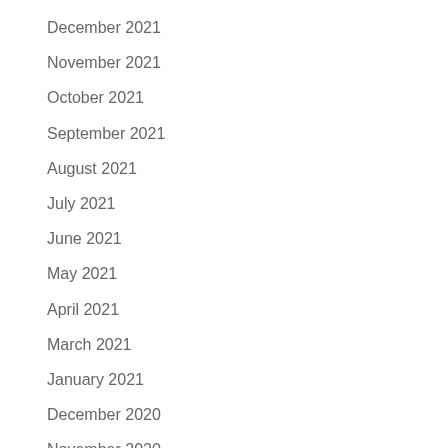December 2021
November 2021
October 2021
September 2021
August 2021
July 2021
June 2021
May 2021
April 2021
March 2021
January 2021
December 2020
November 2020
October 2020
September 2020